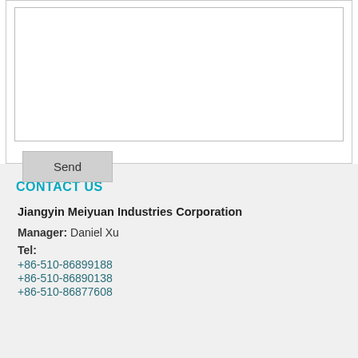[Figure (screenshot): A white form area with a textarea input box and a Send button below it]
CONTACT US
Jiangyin Meiyuan Industries Corporation
Manager: Daniel Xu
Tel:
+86-510-86899188
+86-510-86890138
+86-510-86877608